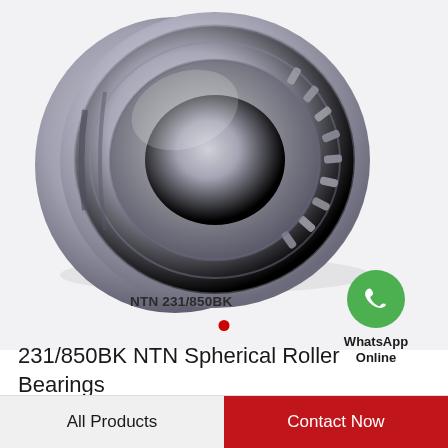[Figure (photo): Photograph of a spherical roller bearing (NTN 231/850BK) — a large, silver-metallic double-row spherical roller bearing shown at an angle, with visible rollers and cage. Label 'NTN 231/850BK' appears below the bearing.]
[Figure (logo): WhatsApp icon — green circle with white telephone handset logo — with text 'WhatsApp Online' below in bold.]
231/850BK NTN Spherical Roller Bearings
All Products   Contact Now